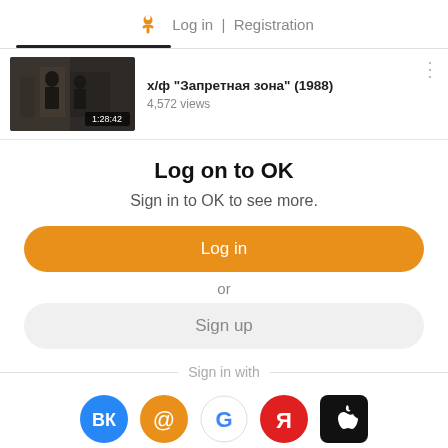Log in | Registration
[Figure (screenshot): Video thumbnail showing 1:28:42 duration with dark film scene]
х/ф "Запретная зона" (1988)
4,572 views
Log on to OK
Sign in to OK to see more.
Log in
or
Sign up
Sign in with
[Figure (illustration): Social login icons: VK (blue), Mail (orange @), Google (G), Yandex (red Я), Apple (black apple)]